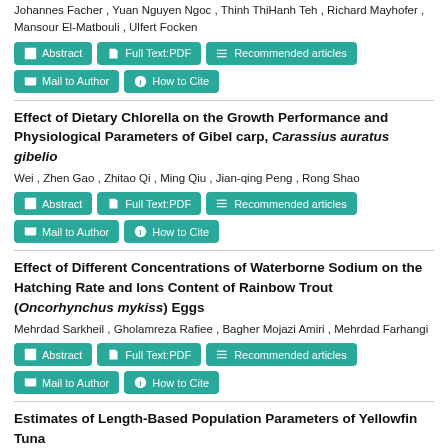Johannes Facher , Yuan Nguyen Ngoc , Thinh ThiHanh Teh , Richard Mayhofer , Mansour El-Matbouli , Ulfert Focken
Abstract | Full Text:PDF | Recommended articles | Mail to Author | How to Cite
Effect of Dietary Chlorella on the Growth Performance and Physiological Parameters of Gibel carp, Carassius auratus gibelio
Wei , Zhen Gao , Zhitao Qi , Ming Qiu , Jian-qing Peng , Rong Shao
Abstract | Full Text:PDF | Recommended articles | Mail to Author | How to Cite
Effect of Different Concentrations of Waterborne Sodium on the Hatching Rate and Ions Content of Rainbow Trout (Oncorhynchus mykiss) Eggs
Mehrdad Sarkheil , Gholamreza Rafiee , Bagher Mojazi Amiri , Mehrdad Farhangi
Abstract | Full Text:PDF | Recommended articles | Mail to Author | How to Cite
Estimates of Length-Based Population Parameters of Yellowfin Tuna